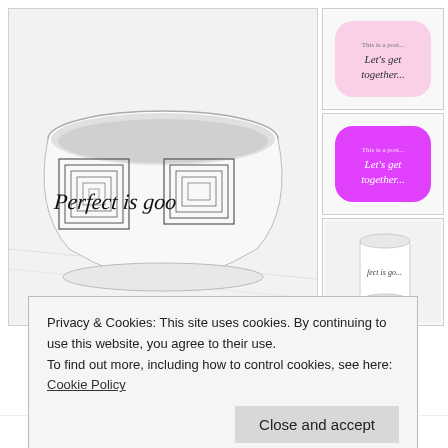[Figure (photo): Main product photo showing a white ceramic bowl with geometric black and white concentric square pattern and cursive text reading 'Perfect is goo...' on the side, placed on a white marble surface]
[Figure (photo): Thumbnail 1: Pink rounded-rectangle label sticker with cursive text 'Let's get together...' on pink dotted background]
[Figure (photo): Thumbnail 2: Bright magenta/pink rounded-rectangle label sticker with white cursive text 'Let's get together...']
[Figure (photo): Thumbnail 3: White ceramic cup with small cursive text 'Perfect is goo...' on the side]
Elegantly Simple
by Perfect Is Good
Privacy & Cookies: This site uses cookies. By continuing to use this website, you agree to their use.
To find out more, including how to control cookies, see here: Cookie Policy
Close and accept
handwriting. Feel welcome to Poems by